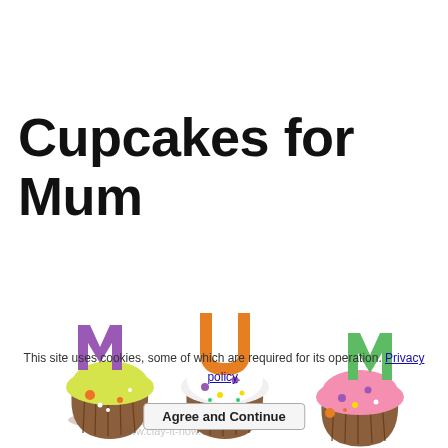Cupcakes for Mum
[Figure (photo): Three clay cupcakes with letters M, U, M on top. Left cupcake has yellow frosting and a purple M, middle has white frosting and orange U, right has pink frosting and green M. Watermark: www.clay-it-now.com]
This site uses cookies, some of which are required for its operation. Privacy policy.
Agree and Continue